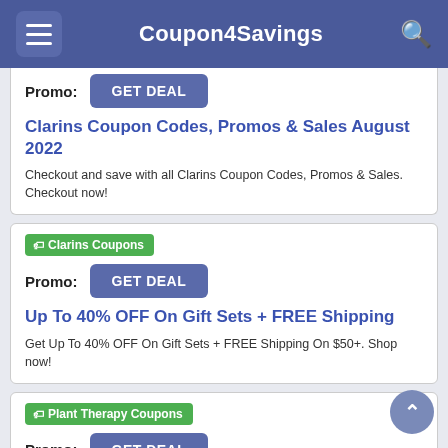Coupon4Savings
Promo: GET DEAL
Clarins Coupon Codes, Promos & Sales August 2022
Checkout and save with all Clarins Coupon Codes, Promos & Sales. Checkout now!
Clarins Coupons
Promo: GET DEAL
Up To 40% OFF On Gift Sets + FREE Shipping
Get Up To 40% OFF On Gift Sets + FREE Shipping On $50+. Shop now!
Plant Therapy Coupons
Promo: GET DEAL